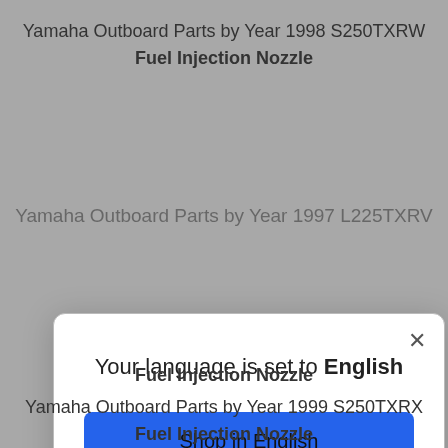Yamaha Outboard Parts by Year 1998 S250TXRW
Fuel Injection Nozzle
Yamaha Outboard Parts by Year 1997 L225TXRV
[Figure (screenshot): Modal dialog with text 'Your language is set to English', a blue 'Shop in English' button, and a 'Change language' underlined link. An X close button is in the top right corner.]
Fuel Injection Nozzle
Yamaha Outboard Parts by Year 1999 S250TXRX
Fuel Injection Nozzle